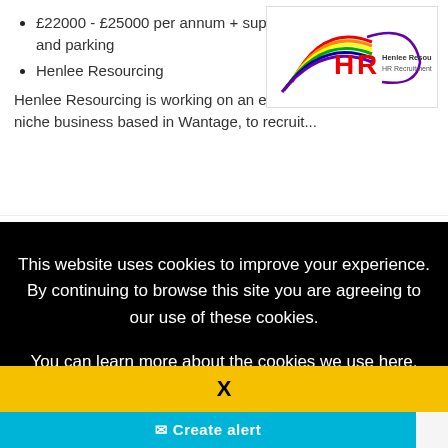£22000 - £25000 per annum + superb benefits, flexi-time and parking
Henlee Resourcing
[Figure (logo): Henlee Resourcing HR Recruitment logo — stylized HR letters with rainbow swirl and text 'Henlee Resourcing HR Recruitment']
Henlee Resourcing is working on an exclusive basis with this niche business based in Wantage, to recruit...
Expiring today
Save
This website uses cookies to improve your experience. By continuing to browse this site you are agreeing to our use of these cookies.
You can learn more about the cookies we use here.
X
Create alert